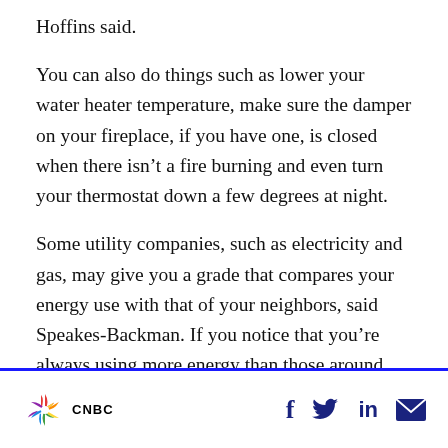Hoffins said.
You can also do things such as lower your water heater temperature, make sure the damper on your fireplace, if you have one, is closed when there isn’t a fire burning and even turn your thermostat down a few degrees at night.
Some utility companies, such as electricity and gas, may give you a grade that compares your energy use with that of your neighbors, said Speakes-Backman. If you notice that you’re always using more energy than those around you, it may be time to pay for a home energy audit. In
CNBC [logo] [social icons: Facebook, Twitter, LinkedIn, Email]